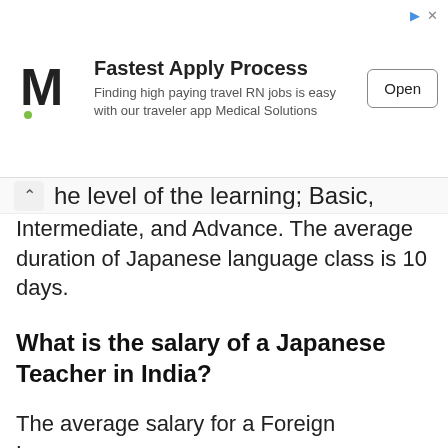[Figure (other): Advertisement banner for Medical Solutions travel RN jobs with logo, headline 'Fastest Apply Process', subtext, and Open button]
he level of the learning; Basic, Intermediate, and Advance. The average duration of Japanese language class is 10 days.
What is the salary of a Japanese Teacher in India?
The average salary for a Foreign Language